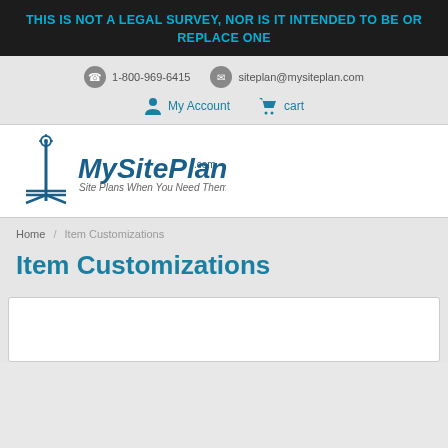THIS IS NOT A LEGAL SURVEY, NOR IS IT INTENDED TO BE OR REPLACE ONE
1-800-969-6415   siteplan@mysiteplan.com
My Account   cart
[Figure (logo): MySitePlan.com logo with compass icon and tagline 'Site Plans When You Need Them']
Home / Item Customizations
Item Customizations